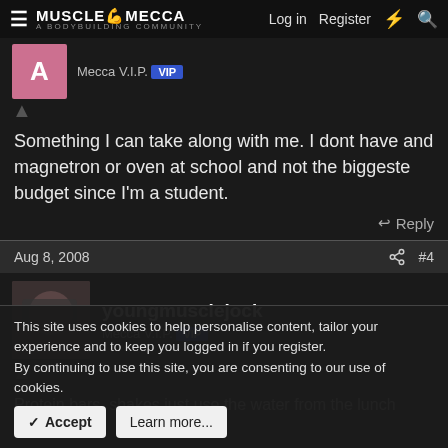MuscleMecca | Log in | Register
Mecca V.I.P. VIP
Something I can take along with me. I dont have and magnetron or oven at school and not the biggeste budget since I'm a student.
Reply
Aug 8, 2008 #4
youngmusclejock
Mecca V.I.P. VIP
Protein bars, shakes just use the water from the lunch room to
This site uses cookies to help personalise content, tailor your experience and to keep you logged in if you register.
By continuing to use this site, you are consenting to our use of cookies.